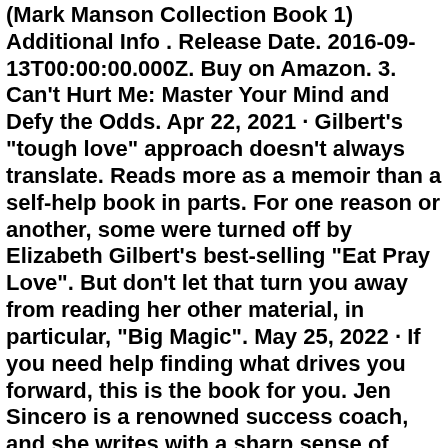(Mark Manson Collection Book 1) Additional Info . Release Date. 2016-09-13T00:00:00.000Z. Buy on Amazon. 3. Can't Hurt Me: Master Your Mind and Defy the Odds. Apr 22, 2021 · Gilbert's "tough love" approach doesn't always translate. Reads more as a memoir than a self-help book in parts. For one reason or another, some were turned off by Elizabeth Gilbert's best-selling "Eat Pray Love". But don't let that turn you away from reading her other material, in particular, "Big Magic". May 25, 2022 · If you need help finding what drives you forward, this is the book for you. Jen Sincero is a renowned success coach, and she writes with a sharp sense of humor. Get this book. 4. Make Your Bed ... Aug 18, 2022 · Buy on Amazon. 4. Paw Cat Footprints Cat Book Markers for Women Inspirational, Funny Bookmarks for Book Lover Cat... 9.8. Buy on Amazon. 5. A Year of Positive Thinking: Daily Inspiration, Wisdom, and Courage (A Year of Daily Reflections) 9.2. Buy on Amazon. Top 100 Paid Top 100 Free. #1. Endangered Phrases: Intriguing Idioms Dangerously Close to Extinction.